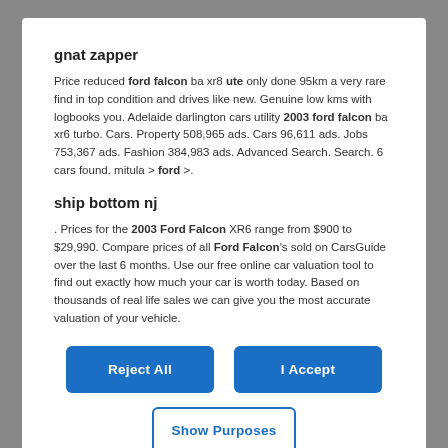gnat zapper
Price reduced ford falcon ba xr8 ute only done 95km a very rare find in top condition and drives like new. Genuine low kms with logbooks you. Adelaide darlington cars utility 2003 ford falcon ba xr6 turbo. Cars. Property 508,965 ads. Cars 96,611 ads. Jobs 753,367 ads. Fashion 384,983 ads. Advanced Search. Search. 6 cars found. mitula > ford >.
ship bottom nj
. Prices for the 2003 Ford Falcon XR6 range from $900 to $29,990. Compare prices of all Ford Falcon's sold on CarsGuide over the last 6 months. Use our free online car valuation tool to find out exactly how much your car is worth today. Based on thousands of real life sales we can give you the most accurate valuation of your vehicle.
Reject All
I Accept
Show Purposes